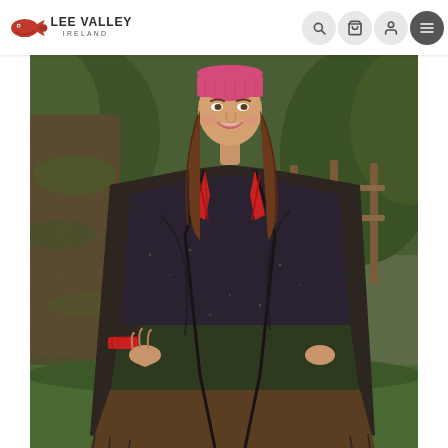[Figure (logo): Lee Valley Ireland logo with salmon/fish icon on left and text 'LEE VALLEY IRELAND' on right]
[Figure (photo): Woman standing outdoors near a tree wearing a large dark tweed boucle wrap/ruana shawl in dark brown/charcoal tones with green and brown color blocking. She wears a red plaid shirt underneath and a pink beanie hat. The setting is green Irish countryside with wooden fence in background.]